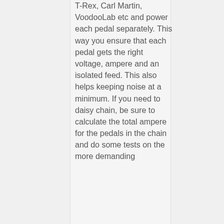T-Rex, Carl Martin, VoodooLab etc and power each pedal separately. This way you ensure that each pedal gets the right voltage, ampere and an isolated feed. This also helps keeping noise at a minimum. If you need to daisy chain, be sure to calculate the total ampere for the pedals in the chain and do some tests on the more demanding